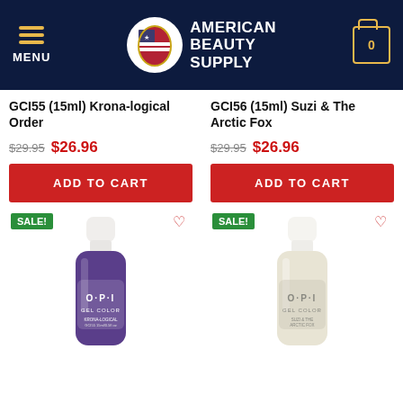MENU | AMERICAN BEAUTY SUPPLY | 0
GCI55 (15ml) Krona-logical Order
$29.95  $26.96
GCI56 (15ml) Suzi & The Arctic Fox
$29.95  $26.96
[Figure (photo): OPI Gel Color bottle - purple/dark violet color, SALE! badge, heart wishlist icon]
[Figure (photo): OPI Gel Color bottle - pale cream/white color, SALE! badge, heart wishlist icon]